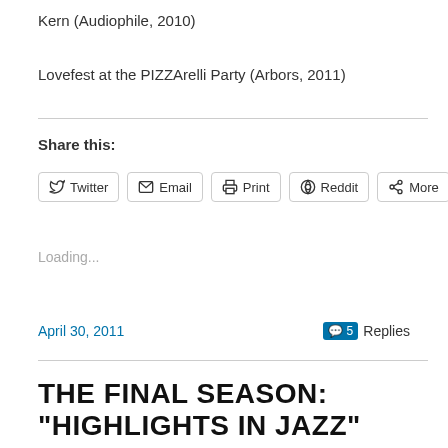Kern (Audiophile, 2010)
Lovefest at the PIZZArelli Party (Arbors, 2011)
Share this:
Twitter  Email  Print  Reddit  More
Loading...
April 30, 2011   5 Replies
THE FINAL SEASON: “HIGHLIGHTS IN JAZZ”